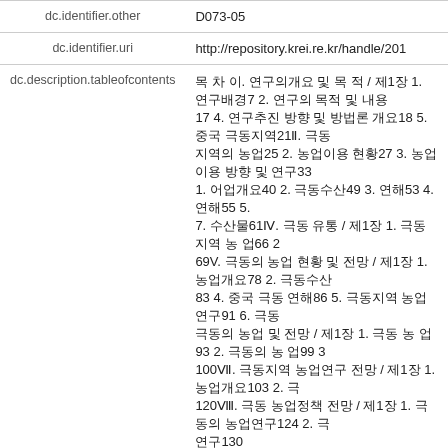| Field | Value |
| --- | --- |
| dc.identifier.other | D073-05 |
| dc.identifier.uri | http://repository.krei.re.kr/handle/201… |
| dc.description.tableofcontents | … 목 차 …(Korean text with page numbers)… |
| dc.title | (Korean title text) |
| dc.title.alternative | Chinese Agriculture Series: Agriculture and Fishery in the China's Far East and Distribution |
| dc.type | KREI 연구보고서 |
Appears in Collections:
단행본연구 > 수탁연구 (D)
Files in This Item: